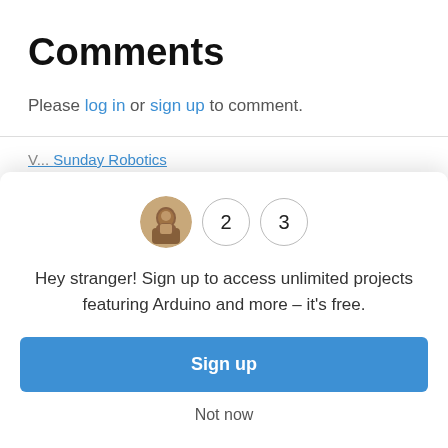Comments
Please log in or sign up to comment.
Sunday Robotics
[Figure (illustration): Modal popup showing avatar with number circles (1, 2, 3), signup prompt text, a blue Sign up button, and a Not now link.]
Hey stranger! Sign up to access unlimited projects featuring Arduino and more – it's free.
Sign up
Not now